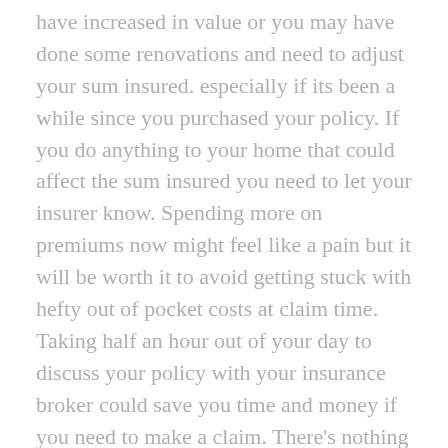have increased in value or you may have done some renovations and need to adjust your sum insured. especially if its been a while since you purchased your policy. If you do anything to your home that could affect the sum insured you need to let your insurer know. Spending more on premiums now might feel like a pain but it will be worth it to avoid getting stuck with hefty out of pocket costs at claim time. Taking half an hour out of your day to discuss your policy with your insurance broker could save you time and money if you need to make a claim. There's nothing worse than realising your sum insured isn't enough to cover your cost of replacement.